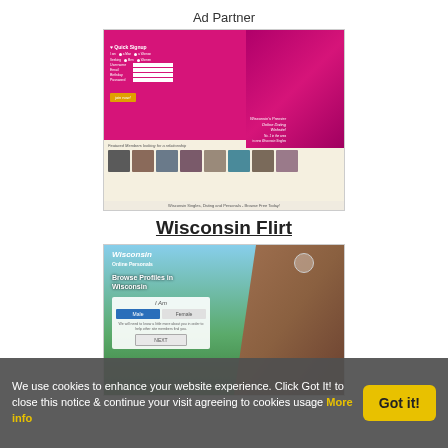Ad Partner
[Figure (screenshot): Screenshot of WisconsinFlirt.com dating website showing quick signup form, member photos, and tagline 'Wisconsin Singles, Dating and Personals - Browse Free Today!']
Wisconsin Flirt
[Figure (screenshot): Screenshot of Wisconsin Online Personals website with 'Browse Profiles in Wisconsin', I Am male/female selection form and NEXT button, couple photo background]
We use cookies to enhance your website experience. Click Got It! to close this notice & continue your visit agreeing to cookies usage More info
Got it!